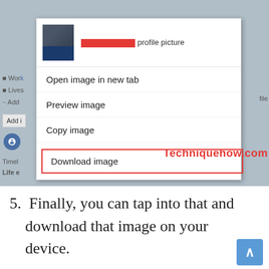[Figure (screenshot): Screenshot of a browser context menu on a Facebook profile page showing options: Open image in new tab, Preview image, Copy image, and Download image (highlighted with red border). A watermark 'Techniquehow.com' appears in red. The profile picture thumbnail shows a partially redacted name in red.]
5. Finally, you can tap into that and download that image on your device.